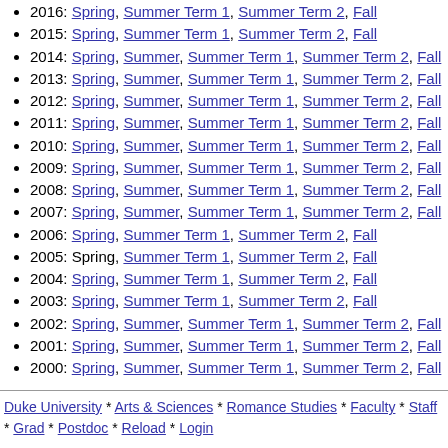2016: Spring, Summer Term 1, Summer Term 2, Fall
2015: Spring, Summer Term 1, Summer Term 2, Fall
2014: Spring, Summer, Summer Term 1, Summer Term 2, Fall
2013: Spring, Summer, Summer Term 1, Summer Term 2, Fall
2012: Spring, Summer, Summer Term 1, Summer Term 2, Fall
2011: Spring, Summer, Summer Term 1, Summer Term 2, Fall
2010: Spring, Summer, Summer Term 1, Summer Term 2, Fall
2009: Spring, Summer, Summer Term 1, Summer Term 2, Fall
2008: Spring, Summer, Summer Term 1, Summer Term 2, Fall
2007: Spring, Summer, Summer Term 1, Summer Term 2, Fall
2006: Spring, Summer Term 1, Summer Term 2, Fall
2005: Spring, Summer Term 1, Summer Term 2, Fall
2004: Spring, Summer Term 1, Summer Term 2, Fall
2003: Spring, Summer Term 1, Summer Term 2, Fall
2002: Spring, Summer, Summer Term 1, Summer Term 2, Fall
2001: Spring, Summer, Summer Term 1, Summer Term 2, Fall
2000: Spring, Summer, Summer Term 1, Summer Term 2, Fall
Duke University * Arts & Sciences * Romance Studies * Faculty * Staff * Grad * Postdoc * Reload * Login